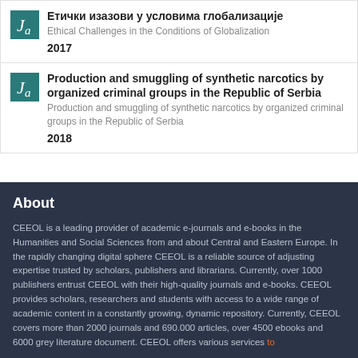Етички изазови у условима глобализације | Ethical Challenges in the Conditions of Globalization | 2017
Production and smuggling of synthetic narcotics by organized criminal groups in the Republic of Serbia | Production and smuggling of synthetic narcotics by organized criminal groups in the Republic of Serbia | 2018
About
CEEOL is a leading provider of academic e-journals and e-books in the Humanities and Social Sciences from and about Central and Eastern Europe. In the rapidly changing digital sphere CEEOL is a reliable source of adjusting expertise trusted by scholars, publishers and librarians. Currently, over 1000 publishers entrust CEEOL with their high-quality journals and e-books. CEEOL provides scholars, researchers and students with access to a wide range of academic content in a constantly growing, dynamic repository. Currently, CEEOL covers more than 2000 journals and 690.000 articles, over 4500 ebooks and 6000 grey literature document. CEEOL offers various services to